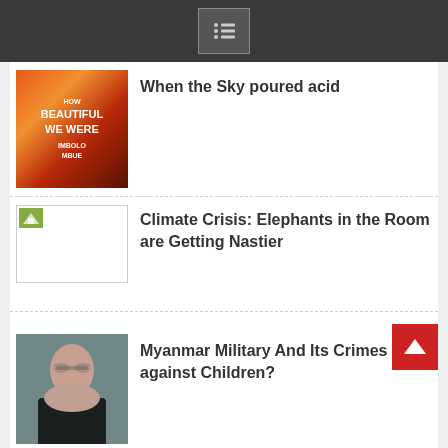[Figure (photo): Book cover for 'How Beautiful We Were' by Imbolo Mbue with orange and fiery tones]
When the Sky poured acid
[Figure (photo): Placeholder image thumbnail]
Climate Crisis: Elephants in the Room are Getting Nastier
[Figure (photo): Portrait of an Asian woman wearing glasses in a dark jacket]
Myanmar Military And Its Crimes against Children?